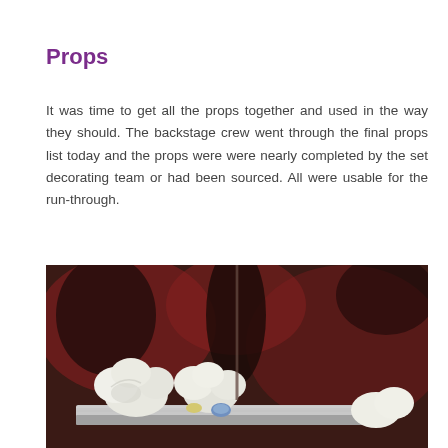Props
It was time to get all the props together and used in the way they should. The backstage crew went through the final props list today and the props were were nearly completed by the set decorating team or had been sourced. All were usable for the run-through.
[Figure (photo): Close-up photograph of theatrical props including white sculpted foam or clay shapes arranged on a silver foil surface, against a dark reddish-brown background.]